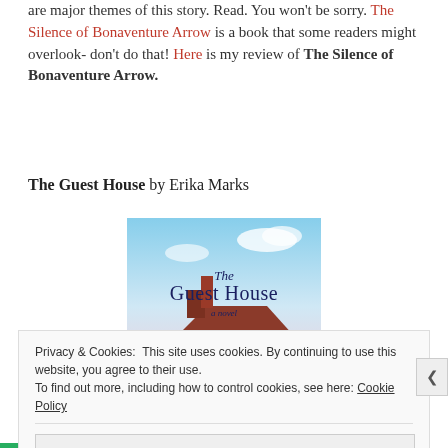are major themes of this story. Read. You won't be sorry. The Silence of Bonaventure Arrow is a book that some readers might overlook- don't do that! Here is my review of The Silence of Bonaventure Arrow.
The Guest House by Erika Marks
[Figure (illustration): Book cover of 'The Guest House, a novel' showing a rooftop scene with a blue sky background, featuring elegant serif typography in dark blue text.]
Privacy & Cookies: This site uses cookies. By continuing to use this website, you agree to their use. To find out more, including how to control cookies, see here: Cookie Policy
Close and accept